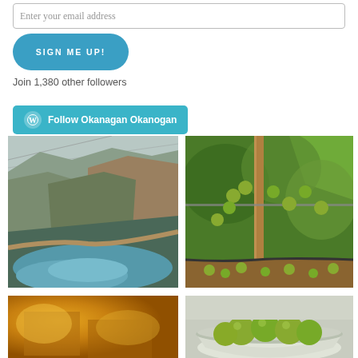Enter your email address
[Figure (other): Sign Me Up! button - a teal/blue rounded pill-shaped button with white uppercase text]
Join 1,380 other followers
[Figure (other): WordPress Follow button - teal rounded rectangle with WordPress logo icon and text 'Follow Okanagan Okanogan']
[Figure (photo): Landscape photo of a river or lake winding through arid brown hills and mountains]
[Figure (photo): Photo of an apple tree with green apples and a wooden stake support, apples on the ground below]
[Figure (photo): Indoor photo with warm yellow/amber lighting showing furniture or equipment]
[Figure (photo): Photo of a bowl containing green apples]